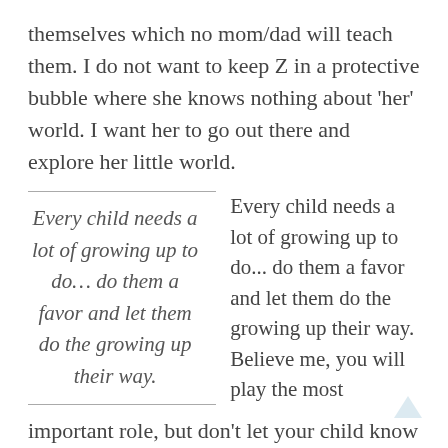themselves which no mom/dad will teach them. I do not want to keep Z in a protective bubble where she knows nothing about 'her' world. I want her to go out there and explore her little world.
Every child needs a lot of growing up to do… do them a favor and let them do the growing up their way.
Every child needs a lot of growing up to do... do them a favor and let them do the growing up their way. Believe me, you will play the most important role, but don't let your child know that. I read a piece in Psychology Today which states, "Middle-class parents especially assume that if kids start getting into difficulty they need to rush in and do it for them, rather than let them flounder a bit and learn from it. I don't mean we should abandon